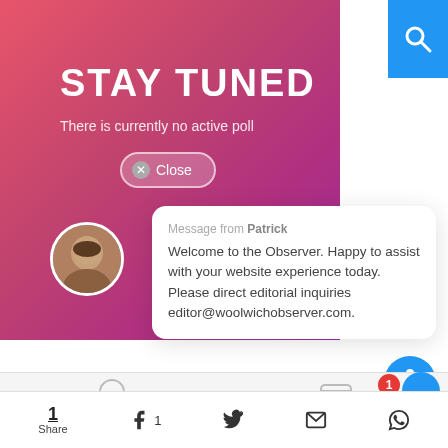[Figure (screenshot): Pink/magenta gradient background panel with STAY TUNED heading, no active poll message, and Close button overlay]
STAY TUNED
There is currently no active poll
Close
[Figure (photo): Circular avatar photo of a bald man]
Message from Patrick
Welcome to the Observer. Happy to assist with your website experience today. Please direct editorial inquiries editor@woolwichobserver.com.
[Figure (illustration): Blue circular accessibility icon with person figure]
Reply to Patrick
[Figure (screenshot): Partial bottom navigation icons strip with notification badge]
1 Share
1
[Figure (illustration): Blue search icon button top right]